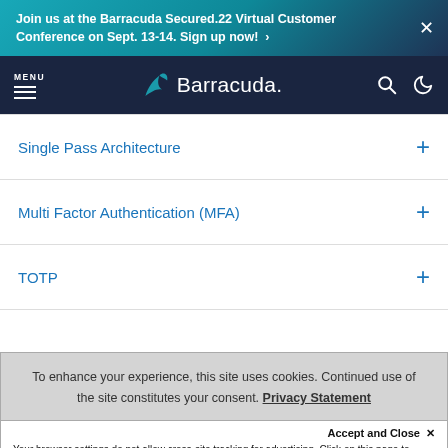Join us at the Barracuda Secured.22 Virtual Customer Conference on Sept. 13-14. Sign up now! ›
[Figure (logo): Barracuda logo with shark fin icon and wordmark on dark navy navigation bar]
Single Pass Architecture +
Multi Factor Authentication (MFA) +
TOTP +
To enhance your experience, this site uses cookies. Continued use of the site constitutes your consent. Privacy Statement
Accept and Close ✕
Your browser settings do not allow cross-site tracking for advertising. Click on this page to allow AdRoll to use cross-site tracking to tailor ads to you. Learn more or opt out of this AdRoll tracking by clicking here. This message only appears once.